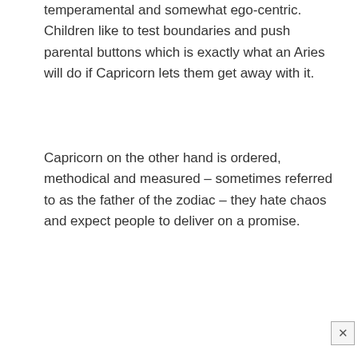temperamental and somewhat ego-centric. Children like to test boundaries and push parental buttons which is exactly what an Aries will do if Capricorn lets them get away with it.
Capricorn on the other hand is ordered, methodical and measured – sometimes referred to as the father of the zodiac – they hate chaos and expect people to deliver on a promise.